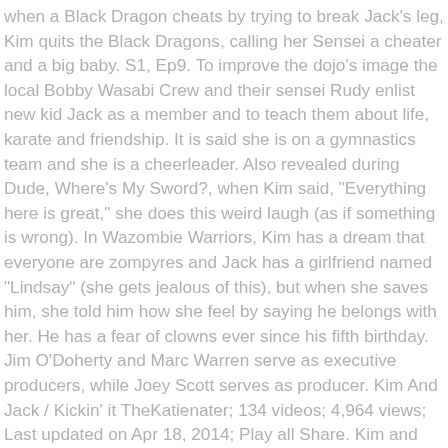when a Black Dragon cheats by trying to break Jack's leg, Kim quits the Black Dragons, calling her Sensei a cheater and a big baby. S1, Ep9. To improve the dojo's image the local Bobby Wasabi Crew and their sensei Rudy enlist new kid Jack as a member and to teach them about life, karate and friendship. It is said she is on a gymnastics team and she is a cheerleader. Also revealed during Dude, Where's My Sword?, when Kim said, "Everything here is great," she does this weird laugh (as if something is wrong). In Wazombie Warriors, Kim has a dream that everyone are zompyres and Jack has a girlfriend named "Lindsay" (she gets jealous of this), but when she saves him, she told him how she feel by saying he belongs with her. He has a fear of clowns ever since his fifth birthday. Jim O'Doherty and Marc Warren serve as executive producers, while Joey Scott serves as producer. Kim And Jack / Kickin' it TheKatienater; 134 videos; 4,964 views; Last updated on Apr 18, 2014; Play all Share. Kim and Jack My life would suck without you. To view the Kim Crawford gallery, click here. 4:09 "Art of Love" Jack&Kim S1 E1 (Jack moves in) by lilly bonds. It's been a while since the last episode of the kid's drama aired in 2015, but its legacy lives on. 1. She wants to enter Bobby Wasabi, but Jerry makes her take a test, which she easily passes by beating a bunch of dummies senseless. It is revealed in Wasabi Forever, Kim had